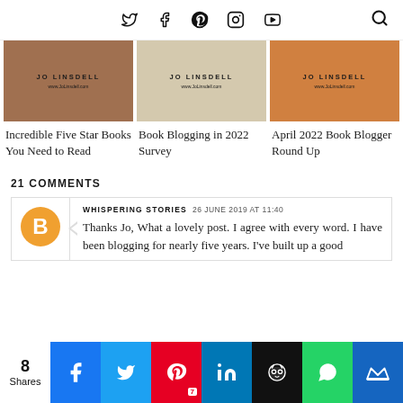Social media navigation bar with Twitter, Facebook, Pinterest, Instagram, YouTube icons and Search
[Figure (photo): Thumbnail image 1 - Jo Linsdell branding, books background]
[Figure (photo): Thumbnail image 2 - Jo Linsdell branding, chart/data background]
[Figure (photo): Thumbnail image 3 - Jo Linsdell branding, orange background]
Incredible Five Star Books You Need to Read
Book Blogging in 2022 Survey
April 2022 Book Blogger Round Up
21 COMMENTS
WHISPERING STORIES  26 JUNE 2019 AT 11:40
Thanks Jo, What a lovely post. I agree with every word. I have been blogging for nearly five years. I've built up a good
8 Shares — Facebook, Twitter, Pinterest 7, LinkedIn, Hootsuite, WhatsApp, Mix